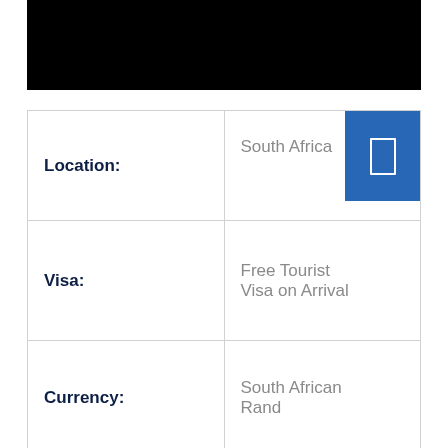[Figure (other): Black bar at top of page, likely a header image or banner]
| Location: | South Africa |
| Visa: | Free Tourist Visa on Arrival |
| Currency: | South African Rand |
| Language: | English, Afrikaans & |